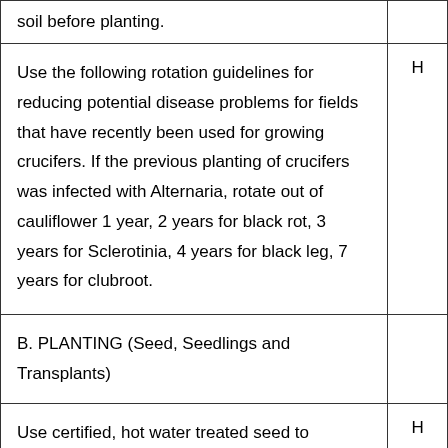soil before planting.
Use the following rotation guidelines for reducing potential disease problems for fields that have recently been used for growing crucifers. If the previous planting of crucifers was infected with Alternaria, rotate out of cauliflower 1 year, 2 years for black rot, 3 years for Sclerotinia, 4 years for black leg, 7 years for clubroot.
B. PLANTING (Seed, Seedlings and Transplants)
Use certified, hot water treated seed to reduce black rot, OR have seed tested to